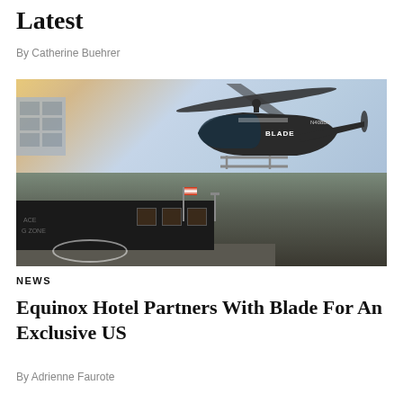Latest
By Catherine Buehrer
[Figure (photo): A black helicopter branded 'BLADE' (registration N408BB) hovering above a helipad near a dark terminal building, with a city skyline and water visible in the background and an American flag on a pole.]
NEWS
Equinox Hotel Partners With Blade For An Exclusive US
By Adrienne Faurote